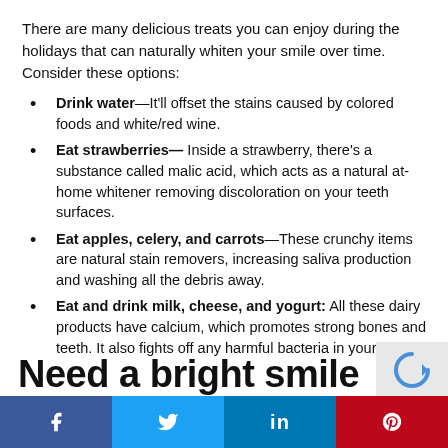There are many delicious treats you can enjoy during the holidays that can naturally whiten your smile over time. Consider these options:
Drink water—It'll offset the stains caused by colored foods and white/red wine.
Eat strawberries— Inside a strawberry, there's a substance called malic acid, which acts as a natural at-home whitener removing discoloration on your teeth surfaces.
Eat apples, celery, and carrots—These crunchy items are natural stain removers, increasing saliva production and washing all the debris away.
Eat and drink milk, cheese, and yogurt: All these dairy products have calcium, which promotes strong bones and teeth. It also fights off any harmful bacteria in your mouth.
Need a bright smile
f  🐦  in  P